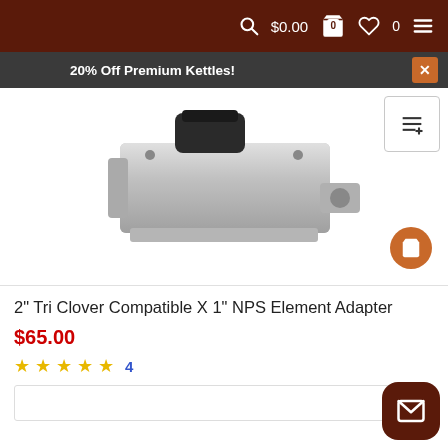$0.00  0  0
20% Off Premium Kettles!
[Figure (photo): Product photo of 2 inch Tri Clover Compatible X 1 inch NPS Element Adapter, showing a silver metal adapter fitting with black cap on white background]
2" Tri Clover Compatible X 1" NPS Element Adapter
$65.00
★ ★ ★ ★ ★  4